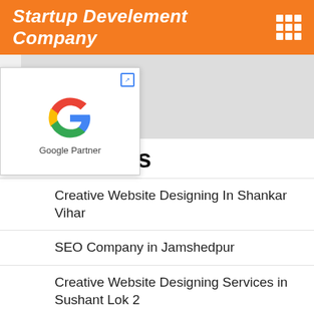Startup Develement Company
[Figure (logo): Google Partner logo badge with colorful G icon and text 'Google Partner']
Categories
Creative Website Designing In Shankar Vihar
SEO Company in Jamshedpur
Creative Website Designing Services in Sushant Lok 2
Creative Website Designing Services in Sushant Lok 1
Creative Website Designing S…